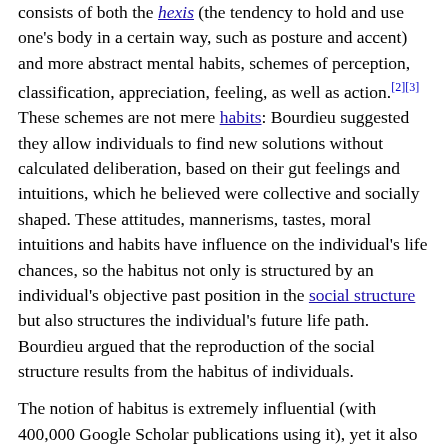consists of both the hexis (the tendency to hold and use one's body in a certain way, such as posture and accent) and more abstract mental habits, schemes of perception, classification, appreciation, feeling, as well as action.[2][3] These schemes are not mere habits: Bourdieu suggested they allow individuals to find new solutions without calculated deliberation, based on their gut feelings and intuitions, which he believed were collective and socially shaped. These attitudes, mannerisms, tastes, moral intuitions and habits have influence on the individual's life chances, so the habitus not only is structured by an individual's objective past position in the social structure but also structures the individual's future life path. Bourdieu argued that the reproduction of the social structure results from the habitus of individuals.
The notion of habitus is extremely influential (with 400,000 Google Scholar publications using it), yet it also evoked criticism for its alleged determinism, as Bourdieu compared social actors to automata (while relying on Leibniz's theory of Monads).[3]
Origins
The concept of habitus has been used as early as Aristotle but in contemporary usage was introduced by Marcel Mauss and later Maurice Merleau-Ponty. However, it was Pierre Bourdieu who